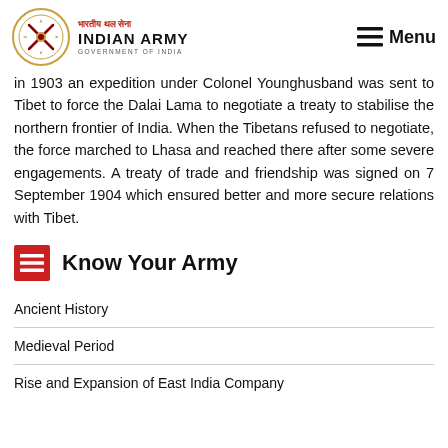Indian Army - Government of India
in 1903 an expedition under Colonel Younghusband was sent to Tibet to force the Dalai Lama to negotiate a treaty to stabilise the northern frontier of India. When the Tibetans refused to negotiate, the force marched to Lhasa and reached there after some severe engagements. A treaty of trade and friendship was signed on 7 September 1904 which ensured better and more secure relations with Tibet.
Know Your Army
Ancient History
Medieval Period
Rise and Expansion of East India Company